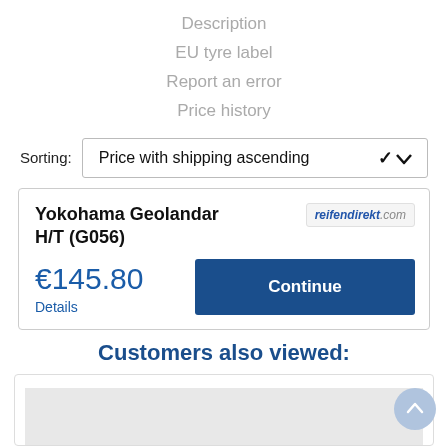Description
EU tyre label
Report an error
Price history
Sorting: Price with shipping ascending
Yokohama Geolandar H/T (G056)
€145.80
Details
reifendirekt.com
Continue
Customers also viewed: